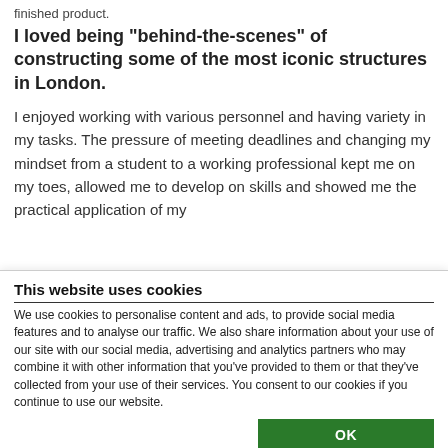finished product.
I loved being "behind-the-scenes" of constructing some of the most iconic structures in London.
I enjoyed working with various personnel and having variety in my tasks. The pressure of meeting deadlines and changing my mindset from a student to a working professional kept me on my toes, allowed me to develop on skills and showed me the practical application of my
This website uses cookies
We use cookies to personalise content and ads, to provide social media features and to analyse our traffic. We also share information about your use of our site with our social media, advertising and analytics partners who may combine it with other information that you've provided to them or that they've collected from your use of their services. You consent to our cookies if you continue to use our website.
OK
Necessary   Preferences   Statistics   Marketing   Show details